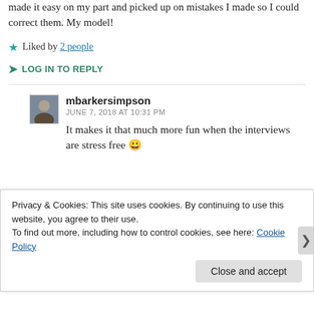made it easy on my part and picked up on mistakes I made so I could correct them. My model!
Liked by 2 people
LOG IN TO REPLY
mbarkersimpson
JUNE 7, 2018 AT 10:31 PM
It makes it that much more fun when the interviews are stress free 😀
Privacy & Cookies: This site uses cookies. By continuing to use this website, you agree to their use.
To find out more, including how to control cookies, see here: Cookie Policy